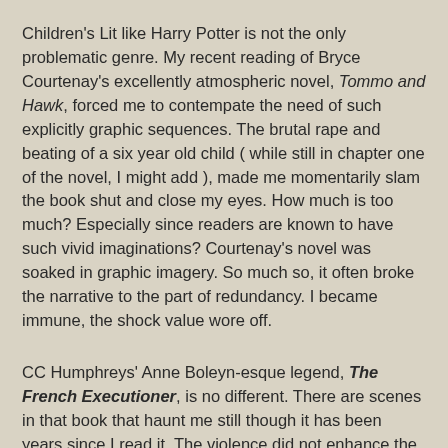Children's Lit like Harry Potter is not the only problematic genre. My recent reading of Bryce Courtenay's excellently atmospheric novel, Tommo and Hawk, forced me to contempate the need of such explicitly graphic sequences. The brutal rape and beating of a six year old child ( while still in chapter one of the novel, I might add ), made me momentarily slam the book shut and close my eyes. How much is too much? Especially since readers are known to have such vivid imaginations? Courtenay's novel was soaked in graphic imagery. So much so, it often broke the narrative to the part of redundancy. I became immune, the shock value wore off.
CC Humphreys' Anne Boleyn-esque legend, The French Executioner, is no different. There are scenes in that book that haunt me still though it has been years since I read it. The violence did not enhance the plot. The author would probably argue that it was necessary for capturing the essence of the time, the injustice, the conflict, the brink of